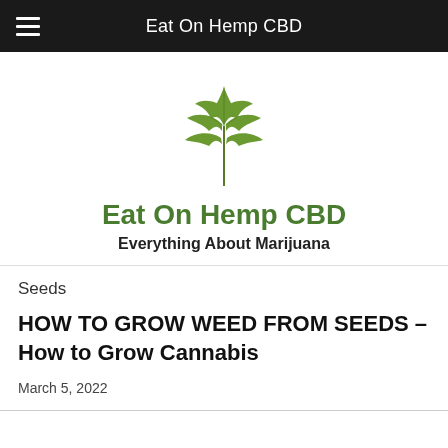Eat On Hemp CBD
[Figure (illustration): Cannabis leaf logo above the Eat On Hemp CBD site branding]
Eat On Hemp CBD
Everything About Marijuana
Seeds
HOW TO GROW WEED FROM SEEDS – How to Grow Cannabis
March 5, 2022